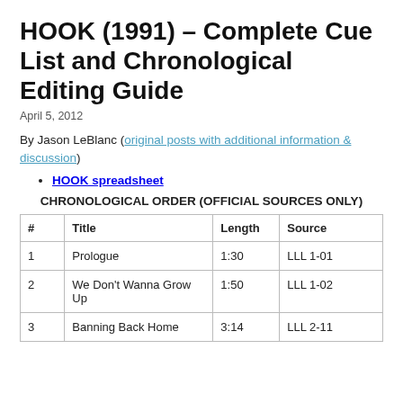HOOK (1991) – Complete Cue List and Chronological Editing Guide
April 5, 2012
By Jason LeBlanc (original posts with additional information & discussion)
HOOK spreadsheet
CHRONOLOGICAL ORDER (OFFICIAL SOURCES ONLY)
| # | Title | Length | Source |
| --- | --- | --- | --- |
| 1 | Prologue | 1:30 | LLL 1-01 |
| 2 | We Don't Wanna Grow Up | 1:50 | LLL 1-02 |
| 3 | Banning Back Home | 3:14 | LLL 2-11 |